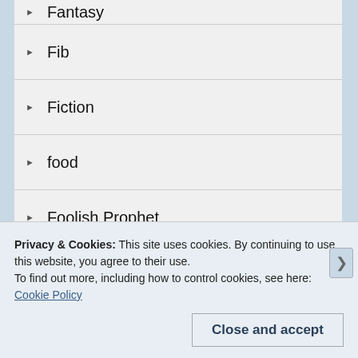Fantasy
Fib
Fiction
food
Foolish Prophet
Halloween
Horror
Inktober
Privacy & Cookies: This site uses cookies. By continuing to use this website, you agree to their use.
To find out more, including how to control cookies, see here: Cookie Policy
Close and accept